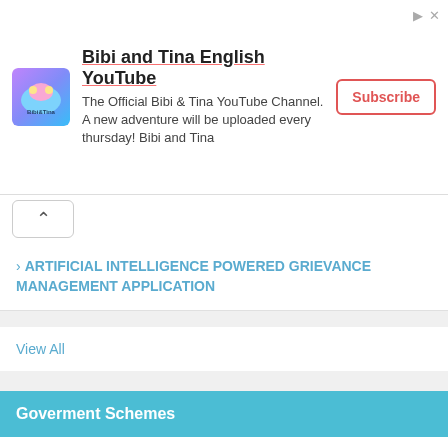[Figure (other): Advertisement banner for Bibi and Tina English YouTube channel with logo, description text, and Subscribe button]
ARTIFICIAL INTELLIGENCE POWERED GRIEVANCE MANAGEMENT APPLICATION
View All
Goverment Schemes
UMANG (Unified Mobile Application for New-age Governance)
Navodaya Vidyalaya Samiti